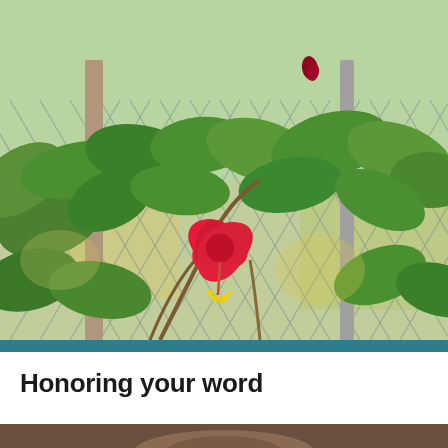[Figure (photo): A red hibiscus flower blooming on a bush growing through a chain-link fence, with green leaves in the foreground and background, and a blurred outdoor setting behind the fence.]
Honoring your word
[Figure (photo): Partial bottom strip showing top of a person's head with brown hair.]